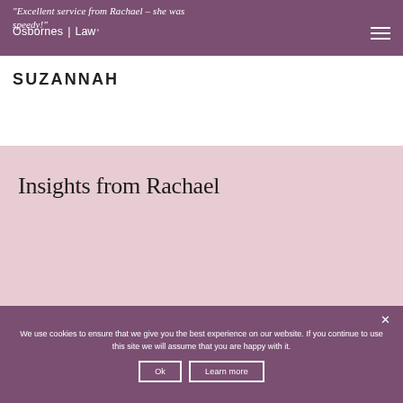"Excellent service from Rachael – she was speedy!"
[Figure (logo): Osbornes Law logo in white text on purple header bar with hamburger menu icon]
SUZANNAH
Insights from Rachael
We use cookies to ensure that we give you the best experience on our website. If you continue to use this site we will assume that you are happy with it.
Ok   Learn more